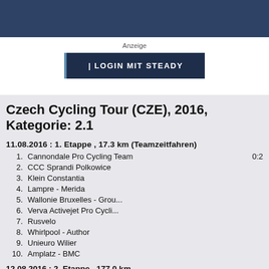Anzeige
| LOGIN MIT STEADY
Czech Cycling Tour (CZE), 2016, Kategorie: 2.1
11.08.2016 : 1. Etappe , 17.3 km (Teamzeitfahren)
1. Cannondale Pro Cycling Team   0:2
2. CCC Sprandi Polkowice
3. Klein Constantia
4. Lampre - Merida
5. Wallonie Bruxelles - Grou...
6. Verva Activejet Pro Cycli...
7. Rusvelo
8. Whirlpool - Author
9. Unieuro Wilier
10. Amplatz - BMC
12.08.2016 : 2. Etappe , 177.0 km